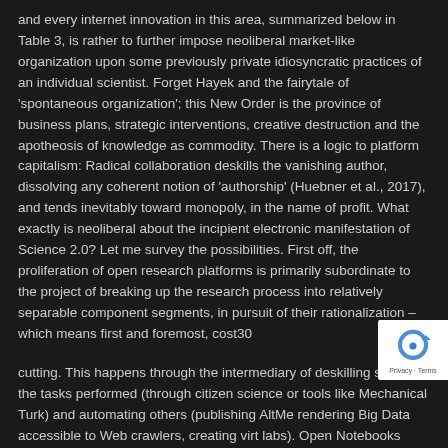and every internet innovation in this area, summarized below in Table 3, is rather to further impose neoliberal market-like organization upon some previously private idiosyncratic practices of an individual scientist. Forget Hayek and the fairytale of 'spontaneous organization'; this New Order is the province of business plans, strategic interventions, creative destruction and the apotheosis of knowledge as commodity. There is a logic to platform capitalism: Radical collaboration deskills the vanishing author, dissolving any coherent notion of 'authorship' (Huebner et al., 2017), and tends inevitably toward monopoly, in the name of profit. What exactly is neoliberal about the incipient electronic manifestation of Science 2.0? Let me survey the possibilities. First off, the proliferation of open research platforms is primarily subordinate to the project of breaking up the research process into relatively separable component segments, in pursuit of their rationalization – which means first and foremost, cost30
cutting. This happens through the intermediary of deskilling some of the tasks performed (through citizen science or tools like Mechanical Turk) and automating others (publishing AltMe rendering Big Data accessible to Web crawlers, creating virt labs). Open Notebooks permits outsiders to freelyhibit...
[Figure (logo): reCAPTCHA badge with blue circular arrow logo and 'Privacy - Terms' text]